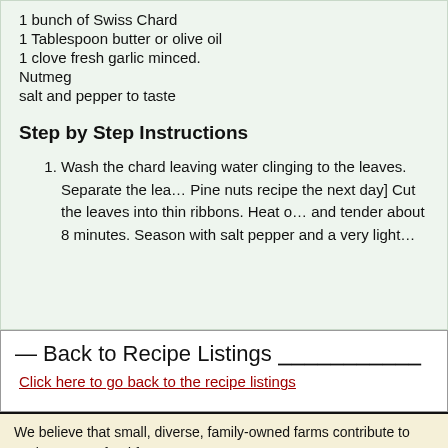1 bunch of Swiss Chard
1 Tablespoon butter or olive oil
1 clove fresh garlic minced.
Nutmeg
salt and pepper to taste
Step by Step Instructions
Wash the chard leaving water clinging to the leaves. Separate the lea... Pine nuts recipe the next day] Cut the leaves into thin ribbons. Heat o... and tender about 8 minutes. Season with salt pepper and a very light...
Back to Recipe Listings
Click here to go back to the recipe listings
We believe that small, diverse, family-owned farms contribute to society's o... food f...
This market is using the Locally Grown online farmers market system. Mo... locallygrown.net/faq. Legal information about...